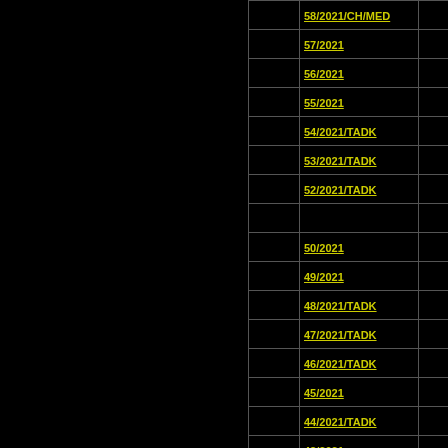|  | Case Number |  |
| --- | --- | --- |
|  | 58/2021/CH/MED |  |
|  | 57/2021 |  |
|  | 56/2021 |  |
|  | 55/2021 |  |
|  | 54/2021/TADK |  |
|  | 53/2021/TADK |  |
|  | 52/2021/TADK |  |
|  |  |  |
|  | 50/2021 |  |
|  | 49/2021 |  |
|  | 48/2021/TADK |  |
|  | 47/2021/TADK |  |
|  | 46/2021/TADK |  |
|  | 45/2021 |  |
|  | 44/2021/TADK |  |
|  | 43/2021 |  |
|  | 42/2021 |  |
|  | 41/2021/TADK |  |
|  | 40/2021 |  |